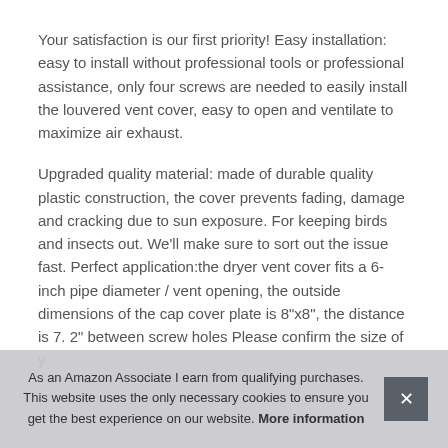Your satisfaction is our first priority! Easy installation: easy to install without professional tools or professional assistance, only four screws are needed to easily install the louvered vent cover, easy to open and ventilate to maximize air exhaust.
Upgraded quality material: made of durable quality plastic construction, the cover prevents fading, damage and cracking due to sun exposure. For keeping birds and insects out. We'll make sure to sort out the issue fast. Perfect application:the dryer vent cover fits a 6-inch pipe diameter / vent opening, the outside dimensions of the cap cover plate is 8” x8”, the distance is 7. 2” between screw holes Please confirm the size of y[obscured]
As an Amazon Associate I earn from qualifying purchases. This website uses the only necessary cookies to ensure you get the best experience on our website. More information